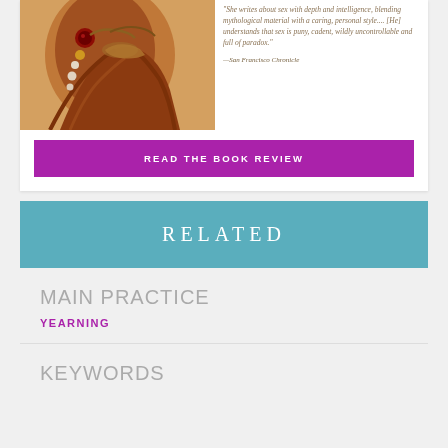[Figure (illustration): Book cover showing a woman with ornate golden jewelry and braided red-brown hair]
"She writes about sex with depth and intelligence, blending mythological material with a caring, personal style.... [He] understands that sex is puny, cadent, wildly uncontrollable and full of paradox."
—San Francisco Chronicle
READ THE BOOK REVIEW
RELATED
MAIN PRACTICE
YEARNING
KEYWORDS